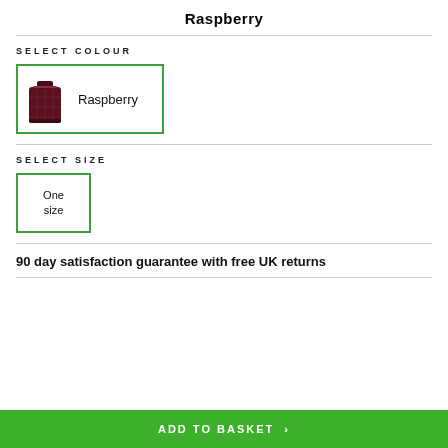Raspberry
SELECT COLOUR
[Figure (photo): Dark red/raspberry coloured quilted bag product thumbnail]
Raspberry
SELECT SIZE
One size
90 day satisfaction guarantee with free UK returns
ADD TO BASKET